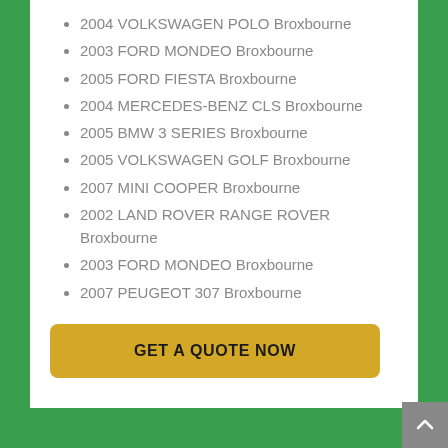2004 VOLKSWAGEN POLO Broxbourne
2003 FORD MONDEO Broxbourne
2005 FORD FIESTA Broxbourne
2004 MERCEDES-BENZ CLS Broxbourne
2005 BMW 3 SERIES Broxbourne
2005 VOLKSWAGEN GOLF Broxbourne
2007 MINI COOPER Broxbourne
2002 LAND ROVER RANGE ROVER Broxbourne
2003 FORD MONDEO Broxbourne
2007 PEUGEOT 307 Broxbourne
GET A QUOTE NOW